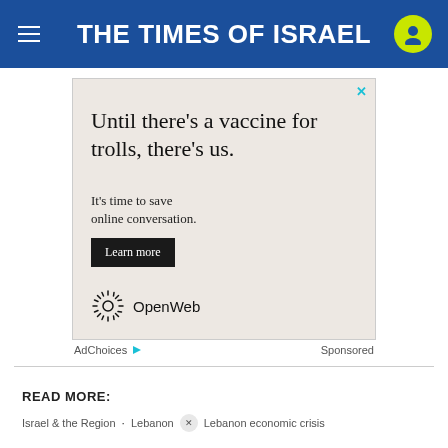THE TIMES OF ISRAEL
[Figure (infographic): OpenWeb advertisement: 'Until there’s a vaccine for trolls, there’s us. It’s time to save online conversation. Learn more' with OpenWeb logo. AdChoices / Sponsored labels below.]
AdChoices ▷    Sponsored
READ MORE:
Israel & the Region · Lebanon × Lebanon economic crisis